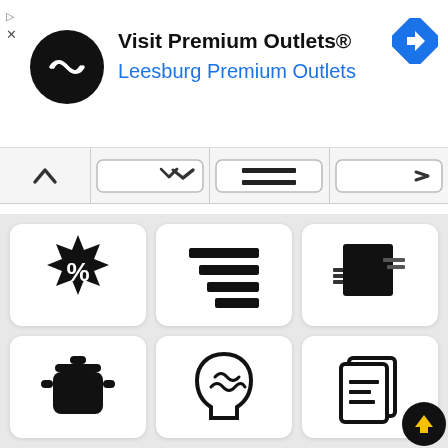[Figure (screenshot): Advertisement banner for Visit Premium Outlets® showing logo, title, Leesburg Premium Outlets subtitle, navigation arrow icon, and ad indicators]
[Figure (infographic): Toolbar row with chevron up, dropdown arrows, text align icon, and more options icon]
[Figure (infographic): Grid of six icons: percent badge, text align right, stacked layers, cooking pot, brain/head, document copy with upload FAB]